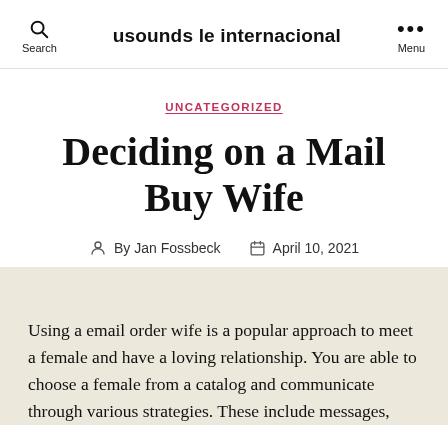usounds le internacional
UNCATEGORIZED
Deciding on a Mail Buy Wife
By Jan Fossbeck   April 10, 2021
Using a email order wife is a popular approach to meet a female and have a loving relationship. You are able to choose a female from a catalog and communicate through various strategies. These include messages,